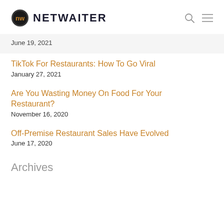[Figure (logo): NetWaiter logo with circular NW icon and NETWAITER text, plus search and menu icons]
June 19, 2021
TikTok For Restaurants: How To Go Viral
January 27, 2021
Are You Wasting Money On Food For Your Restaurant?
November 16, 2020
Off-Premise Restaurant Sales Have Evolved
June 17, 2020
Archives